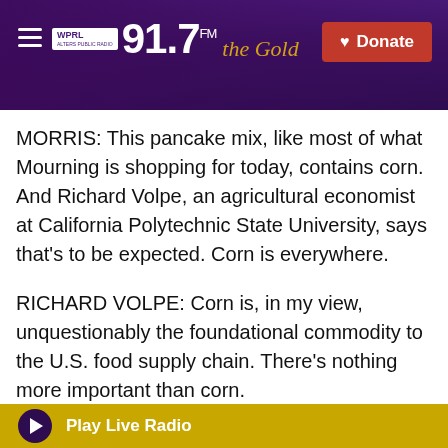WPRL 91.7 FM the Gold — Donate
MORRIS: This pancake mix, like most of what Mourning is shopping for today, contains corn. And Richard Volpe, an agricultural economist at California Polytechnic State University, says that's to be expected. Corn is everywhere.
RICHARD VOLPE: Corn is, in my view, unquestionably the foundational commodity to the U.S. food supply chain. There's nothing more important than corn.
MORRIS: Volpe says that corn is a component, directly or indirectly, in at least three-quarters of the food and beverages here. Well, take the meat
Play Live Radio